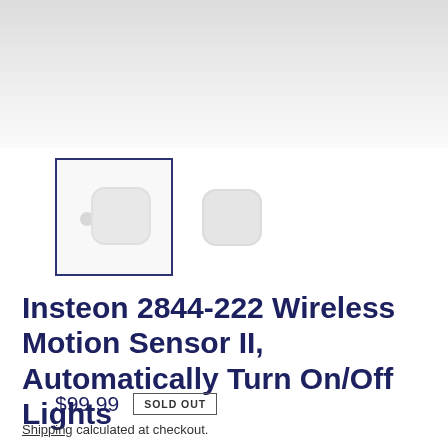[Figure (photo): Product images of Insteon 2844-222 Wireless Motion Sensor II — two thumbnail views: one mounted on wall bracket (selected, with dark blue border) and one standalone unit]
Insteon 2844-222 Wireless Motion Sensor II, Automatically Turn On/Off Lights
$99.99  SOLD OUT
Shipping calculated at checkout.